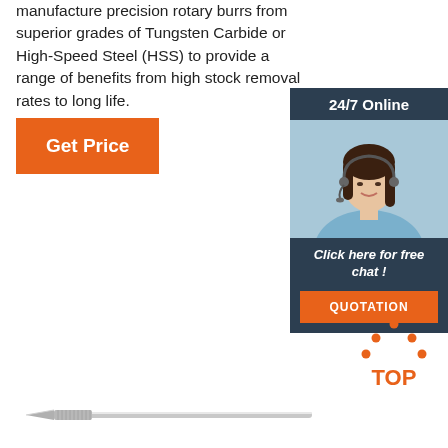manufacture precision rotary burrs from superior grades of Tungsten Carbide or High-Speed Steel (HSS) to provide a range of benefits from high stock removal rates to long life.
[Figure (other): Orange 'Get Price' button]
[Figure (other): 24/7 online chat widget with woman wearing headset, 'Click here for free chat!' text, and orange QUOTATION button]
[Figure (other): Orange dotted triangle 'TOP' icon]
[Figure (other): Rotary burr tool illustration - long thin pointed tool]